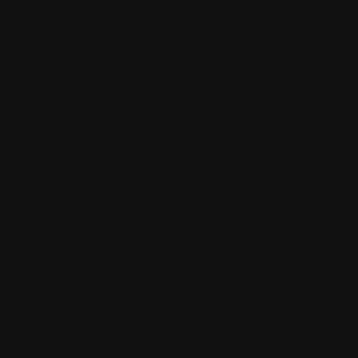harassment claims, and an invest… Over the course of a year, the per… the case after determining the sup… performance?
Practice: Week 3 Practice As…
1. Workers of what age are now pro…
2. When was the EEOC (which is th…
3. Which of the following is legal u…
4. Affirmative action is defined as _…
5. Which of the following is not an…
6. What was the Civil Rights Act of…
7. As part of their mission, the EEO…
8. Which of the following are disad…
9. What is usually the best way to ir…
10. All of the following are advantag…
11. Performance deficiencies can be …
12. For the most part, training and de…
13. How can training help organizatio…
14. Which of the following is an adva…
15. Which of the following is an eval…
16. How do performance appraisals h…